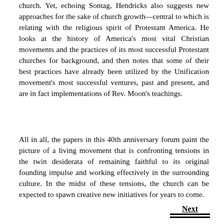church. Yet, echoing Sontag, Hendricks also suggests new approaches for the sake of church growth—central to which is relating with the religious spirit of Protestant America. He looks at the history of America's most vital Christian movements and the practices of its most successful Protestant churches for background, and then notes that some of their best practices have already been utilized by the Unification movement's most successful ventures, past and present, and are in fact implementations of Rev. Moon's teachings.
All in all, the papers in this 40th anniversary forum paint the picture of a living movement that is confronting tensions in the twin desiderata of remaining faithful to its original founding impulse and working effectively in the surrounding culture. In the midst of these tensions, the church can be expected to spawn creative new initiatives for years to come.
Next